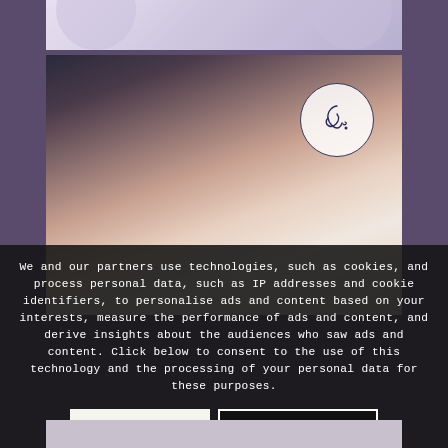[Figure (photo): Top cropped image strip with soft purple/lavender tones and partial circular shapes visible at top]
[Figure (photo): Photo of a woman lying down receiving a facial treatment, with a circular logo/monogram overlay in the upper right of the image. Background shows a person in dark clothing. Warm skin tones with soft lighting.]
We and our partners use technologies, such as cookies, and process personal data, such as IP addresses and cookie identifiers, to personalise ads and content based on your interests, measure the performance of ads and content, and derive insights about the audiences who saw ads and content. Click below to consent to the use of this technology and the processing of your personal data for these purposes.
OK
Learn more